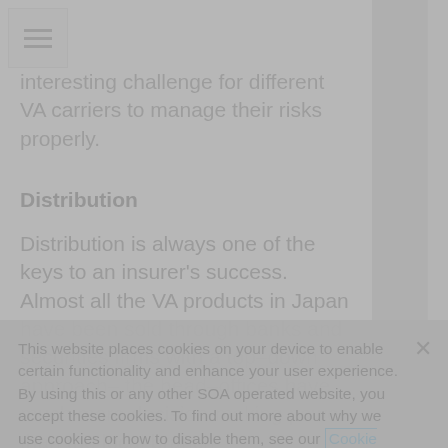interesting challenge for different VA carriers to manage their risks properly.
Distribution
Distribution is always one of the keys to an insurer's success. Almost all the VA products in Japan have been sold through banks and securities firms with a top–down approach– the head–offices have much more decision-making power than the local branch
This website places cookies on your device to enable certain functionality and enhance your user experience. By using this or any other SOA operated website, you accept these cookies. To find out more about why we use cookies or how to disable them, see our Cookie Policy.
Accept Cookies